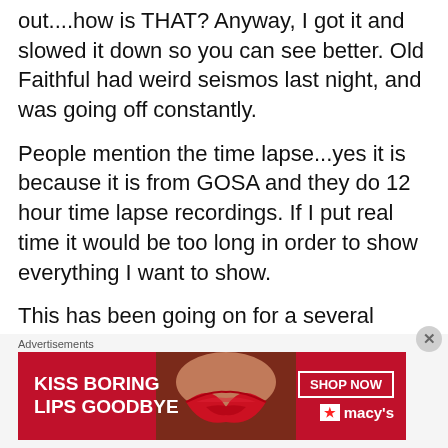out....how is THAT? Anyway, I got it and slowed it down so you can see better. Old Faithful had weird seismos last night, and was going off constantly.
People mention the time lapse...yes it is because it is from GOSA and they do 12 hour time lapse recordings. If I put real time it would be too long in order to show everything I want to show.
This has been going on for a several nights.
As well, strange things are taking place on the Shoshone river located Southeast of Yellowstone.
[Figure (other): Advertisement banner for Macy's lipstick product: 'KISS BORING LIPS GOODBYE' with a woman's face and lips, SHOP NOW button and Macy's logo on red background]